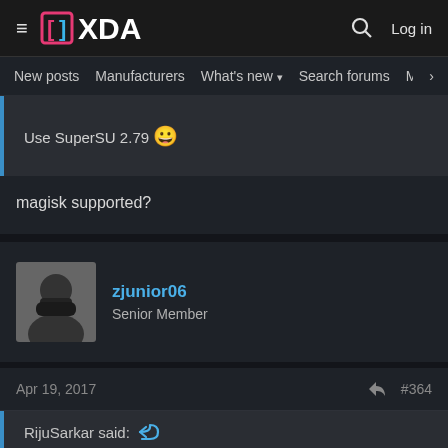XDA Forums — Log in
New posts  Manufacturers  What's new  Search forums  Membe  >
Use SuperSU 2.79 😀
magisk supported?
zjunior06
Senior Member
Apr 19, 2017  #364
RijuSarkar said: